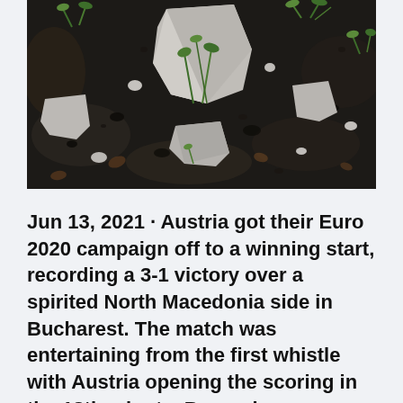[Figure (photo): Close-up photograph of soil, rocks, and small green plants/grass shoots on the ground, viewed from above.]
Jun 13, 2021 · Austria got their Euro 2020 campaign off to a winning start, recording a 3-1 victory over a spirited North Macedonia side in Bucharest. The match was entertaining from the first whistle with Austria opening the scoring in the 18th minute. Borussia Monchengladbach's